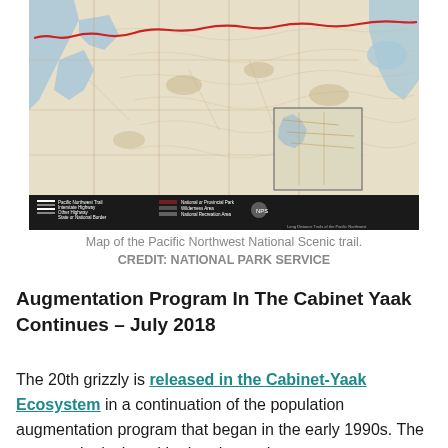[Figure (map): Map of the Pacific Northwest National Scenic Trail showing the trail route across Washington state, with a red line tracing the trail path, terrain features, and a legend at the bottom. A small inset map appears in the lower right corner. Published by National Park Service.]
Map of the Pacific Northwest National Scenic trail. CREDIT: NATIONAL PARK SERVICE
Augmentation Program In The Cabinet Yaak Continues – July 2018
The 20th grizzly is released in the Cabinet-Yaak Ecosystem in a continuation of the population augmentation program that began in the early 1990s. The program is designed both to boost the